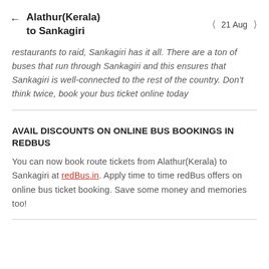Alathur(Kerala) to Sankagiri   21 Aug
restaurants to raid, Sankagiri has it all. There are a ton of buses that run through Sankagiri and this ensures that Sankagiri is well-connected to the rest of the country. Don't think twice, book your bus ticket online today
AVAIL DISCOUNTS ON ONLINE BUS BOOKINGS IN REDBUS
You can now book route tickets from Alathur(Kerala) to Sankagiri at redBus.in. Apply time to time redBus offers on online bus ticket booking. Save some money and memories too!